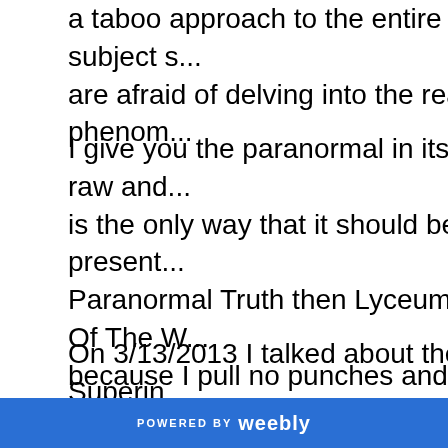a taboo approach to the entire subject s... are afraid of delving into the real phenom...
I give you the paranormal in its raw and... is the only way that it should be present... Paranormal Truth then Lyceum Of The W... because I pull no punches and give it to...
On 3/13/2013 I talked about the Superin... about our reproductive system being a s... creation, however, those that cannot thi... cannot perceive the truth in my stateme...
POWERED BY weebly